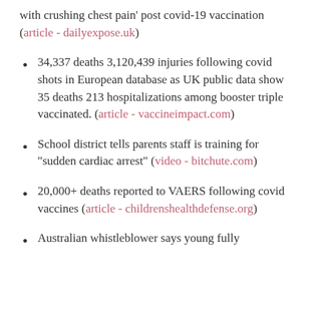with crushing chest pain' post covid-19 vaccination (article - dailyexpose.uk)
34,337 deaths 3,120,439 injuries following covid shots in European database as UK public data show 35 deaths 213 hospitalizations among booster triple vaccinated. (article - vaccineimpact.com)
School district tells parents staff is training for "sudden cardiac arrest" (video - bitchute.com)
20,000+ deaths reported to VAERS following covid vaccines (article - childrenshealthdefense.org)
Australian whistleblower says young fully